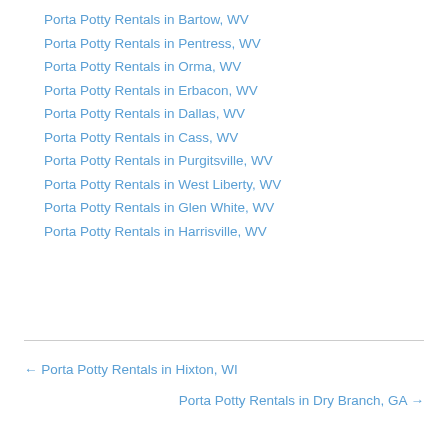Porta Potty Rentals in Bartow, WV
Porta Potty Rentals in Pentress, WV
Porta Potty Rentals in Orma, WV
Porta Potty Rentals in Erbacon, WV
Porta Potty Rentals in Dallas, WV
Porta Potty Rentals in Cass, WV
Porta Potty Rentals in Purgitsville, WV
Porta Potty Rentals in West Liberty, WV
Porta Potty Rentals in Glen White, WV
Porta Potty Rentals in Harrisville, WV
← Porta Potty Rentals in Hixton, WI
Porta Potty Rentals in Dry Branch, GA →